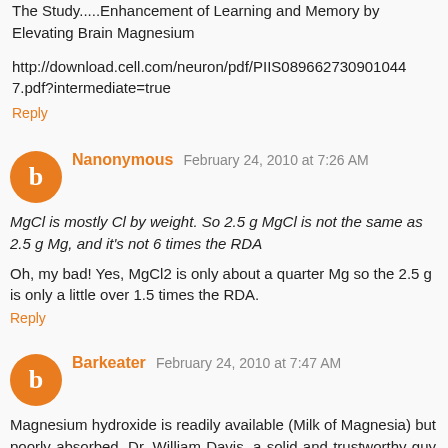The Study.....Enhancement of Learning and Memory by Elevating Brain Magnesium
http://download.cell.com/neuron/pdf/PIIS0896627309010447.pdf?intermediate=true
Reply
Nanonymous  February 24, 2010 at 7:26 AM
MgCl is mostly Cl by weight. So 2.5 g MgCl is not the same as 2.5 g Mg, and it's not 6 times the RDA
Oh, my bad! Yes, MgCl2 is only about a quarter Mg so the 2.5 g is only a little over 1.5 times the RDA.
Reply
Barkeater  February 24, 2010 at 7:47 AM
Magnesium hydroxide is readily available (Milk of Magnesia) but poorly absorbed. Dr. William Davis, a solid and trustworthy guy (he runs the Trackyourplaque website